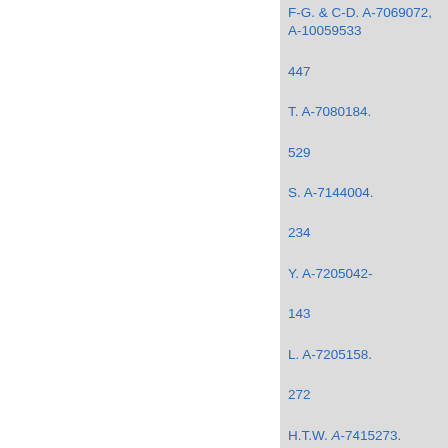F-G. & C-D. A-7069072, A-10059533
447
T. A-7080184.
529
S. A-7144004.
234
Y. A-7205042-
143
L. A-7205158.
272
H.T.W. A-7415273.
562
T. A-7420193.
500
G. A-7444373.
140
G. A-7444373.